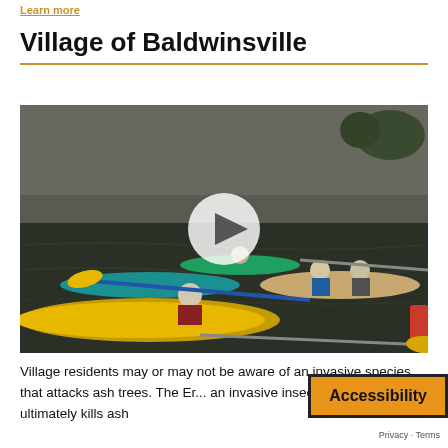Learn more
Village of Baldwinsville
[Figure (photo): Group of people kayaking and paddling canoes on a canal or waterway, with concrete walls on the sides. A video play button circle is overlaid in the center of the image.]
Village residents may or may not be aware of an invasive species that attacks ash trees. The Er... an invasive insect that infects and ultimately kills ash
Accessibility
Privacy - Terms